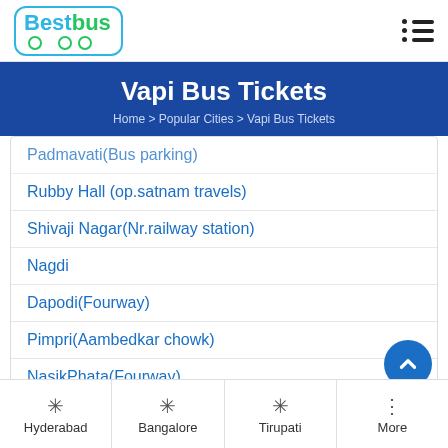BestBus logo and navigation menu
Vapi Bus Tickets
Home > Popular Cities > Vapi Bus Tickets
Padmavati(Bus parking)
Rubby Hall (op.satnam travels)
Shivaji Nagar(Nr.railway station)
Nagdi
Dapodi(Fourway)
Pimpri(Aambedkar chowk)
NasikPhata(Fourway)
Kalamboli mac donald
Hyderabad | Bangalore | Tirupati | More